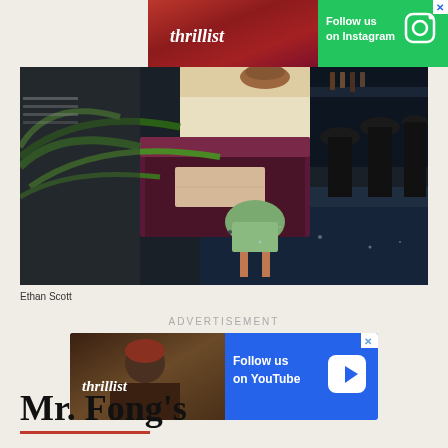[Figure (screenshot): Thrillist Instagram follow us ad banner with green background and Instagram icon]
[Figure (photo): Interior of Mr. Fong's restaurant showing purple/maroon vinyl booths, green retro chair, large palm plant, marble table tops, black bar stools, and dark navy blue floor]
Ethan Scott
ADVERTISEMENT
[Figure (screenshot): Thrillist YouTube follow us ad banner with blue background and YouTube play button]
Mr. Fong's